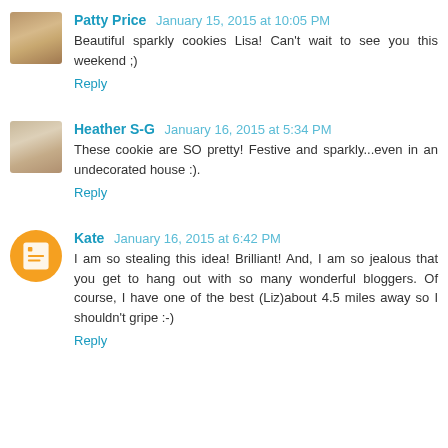Patty Price January 15, 2015 at 10:05 PM
Beautiful sparkly cookies Lisa! Can't wait to see you this weekend ;)
Reply
Heather S-G January 16, 2015 at 5:34 PM
These cookie are SO pretty! Festive and sparkly...even in an undecorated house :).
Reply
Kate January 16, 2015 at 6:42 PM
I am so stealing this idea! Brilliant! And, I am so jealous that you get to hang out with so many wonderful bloggers. Of course, I have one of the best (Liz)about 4.5 miles away so I shouldn't gripe :-)
Reply